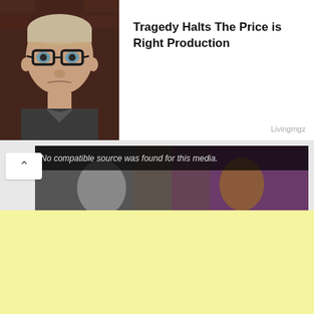[Figure (photo): Article thumbnail showing a man with glasses and short hair against a brick background]
Tragedy Halts The Price is Right Production
Livingmgz
[Figure (screenshot): Video player showing error message 'No compatible source was found for this media.' with an X and question mark overlay on a video of people looking at phones]
[Figure (other): Yellow advertisement banner area]